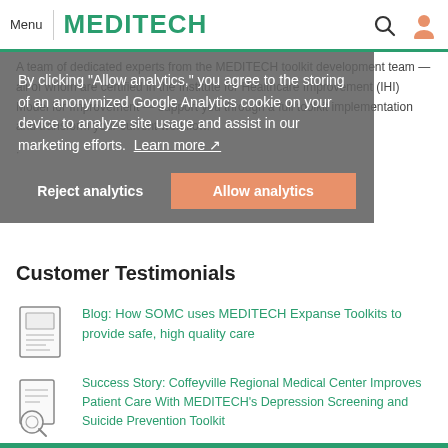Menu | MEDITECH
By clicking "Allow analytics," you agree to the storing of an anonymized Google Analytics cookie on your device to analyze site usage and assist in our marketing efforts. Learn more
A team of dedicated experts from the MEDITECH toolkit development team — all of whom are certified in the Institute for Healthcare Improvement (IHI) Model for Improvement — support you through a full toolkit implementation and transform your current workflow.
Customer Testimonials
[Figure (illustration): Document/newspaper icon]
Blog: How SOMC uses MEDITECH Expanse Toolkits to provide safe, high quality care
[Figure (illustration): Document with magnifying glass icon]
Success Story: Coffeyville Regional Medical Center Improves Patient Care With MEDITECH's Depression Screening and Suicide Prevention Toolkit